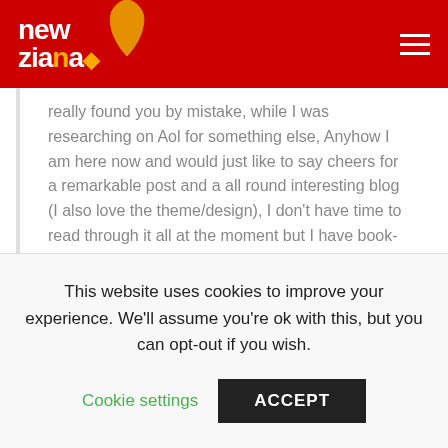[Figure (logo): New Ziana logo in white text on red background with Africa continent outline]
really found you by mistake, while I was researching on Aol for something else, Anyhow I am here now and would just like to say cheers for a remarkable post and a all round interesting blog (I also love the theme/design), I don't have time to read through it all at the moment but I have book-marked it and also added your RSS feeds, so when I have time I will be back to read a lot more, Please do keep up the fantastic work.|
Cpd Oil Says  2 years ago
This website uses cookies to improve your experience. We'll assume you're ok with this, but you can opt-out if you wish. Cookie settings  ACCEPT